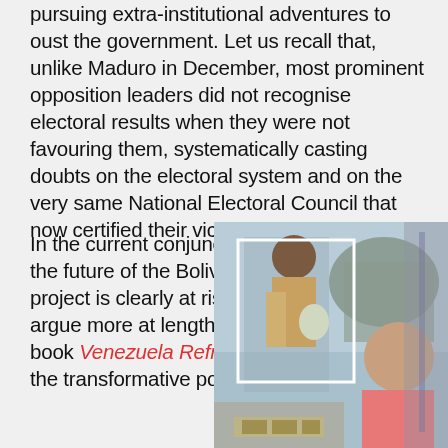pursuing extra-institutional adventures to oust the government. Let us recall that, unlike Maduro in December, most prominent opposition leaders did not recognise electoral results when they were not favouring them, systematically casting doubts on the electoral system and on the very same National Electoral Council that now certified their victory.
In the current conjuncture, the future of the Bolivarian project is clearly at risk. As I argue more at length in my book Venezuela Reframed, the transformative potential
[Figure (photo): Photograph showing two people, one appearing to be a child in the background and a young woman in the foreground wearing a pink top, with a white rectangle overlay on the left portion of the image.]